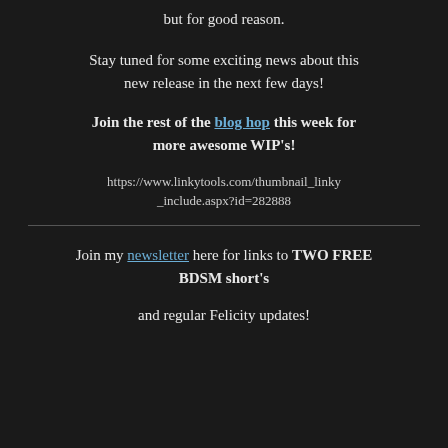but for good reason.
Stay tuned for some exciting news about this new release in the next few days!
Join the rest of the blog hop this week for more awesome WIP's!
https://www.linkytools.com/thumbnail_linky_include.aspx?id=282888
Join my newsletter here for links to TWO FREE BDSM short's
and regular Felicity updates!